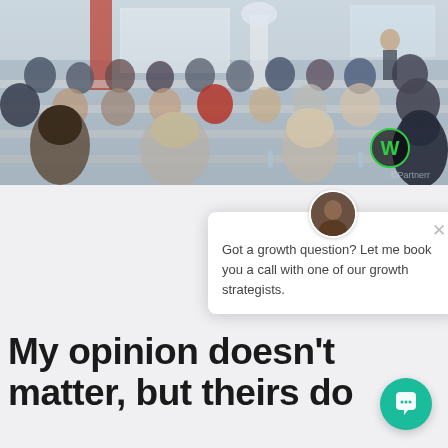[Figure (photo): Conference room photo showing audience of professionals seated at tables attending a seminar or training event, with a presenter at the front near a projection screen. A green W logo watermark is visible in the lower right of the image.]
[Figure (screenshot): Chat popup widget with a person avatar, an X close button, and the message: Got a growth question? Let me book you a call with one of our growth strategists.]
My opinion doesn't matter, but theirs do